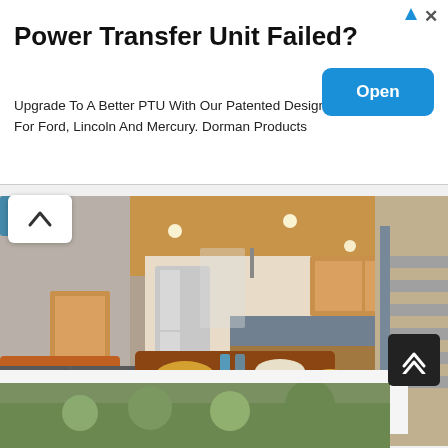[Figure (infographic): Advertisement banner: 'Power Transfer Unit Failed?' with blue Open button. Upgrade To A Better PTU With Our Patented Design For Ford, Lincoln And Mercury. Dorman Products]
[Figure (photo): Interior photo of a spacious modern downtown loft with open kitchen, dining table with food, orange chairs, wood ceiling, and staircase]
Spacious sunny modern downtown loft lofts rent
[Figure (photo): Partial bottom photo, partially visible]